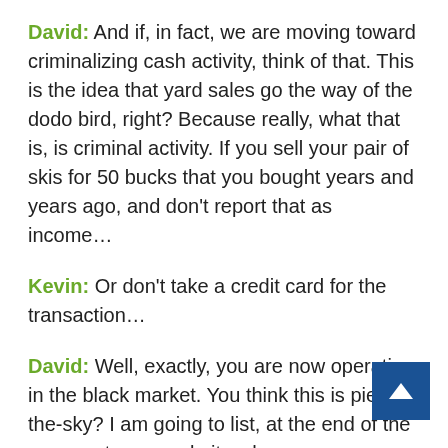David: And if, in fact, we are moving toward criminalizing cash activity, think of that. This is the idea that yard sales go the way of the dodo bird, right? Because really, what that is, is criminal activity. If you sell your pair of skis for 50 bucks that you bought years and years ago, and don't report that as income…
Kevin: Or don't take a credit card for the transaction…
David: Well, exactly, you are now operating in the black market. You think this is pie-in-the-sky? I am going to list, at the end of the commentary, a website where you can go and read Ken Rogoff's argument, an economics prof at Harvard, for why we should eliminate cash. And what is fascinating is how widely this opinion is being spread amongst academics and policy-makers.